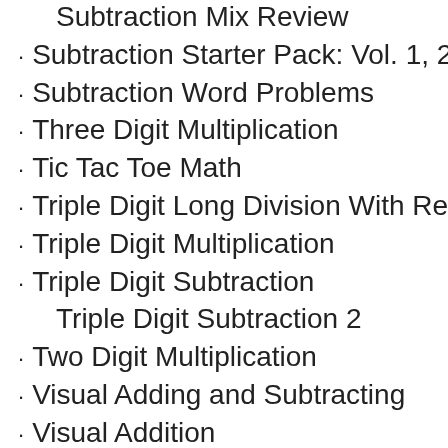Subtraction Mix Review
Subtraction Starter Pack: Vol. 1, 2
Subtraction Word Problems
Three Digit Multiplication
Tic Tac Toe Math
Triple Digit Long Division With Rema
Triple Digit Multiplication
Triple Digit Subtraction
Triple Digit Subtraction 2
Two Digit Multiplication
Visual Adding and Subtracting
Visual Addition
Visual Addition 2
Visual Addition and Subtraction
Visual Decimals
Visual Differences
Visual Division